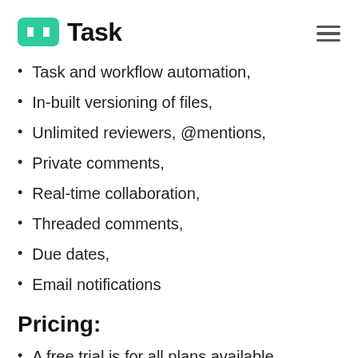nTask
Task and workflow automation,
In-built versioning of files,
Unlimited reviewers, @mentions,
Private comments,
Real-time collaboration,
Threaded comments,
Due dates,
Email notifications
Pricing:
A free trial is for all plans available
The pricing starts at $89 per month